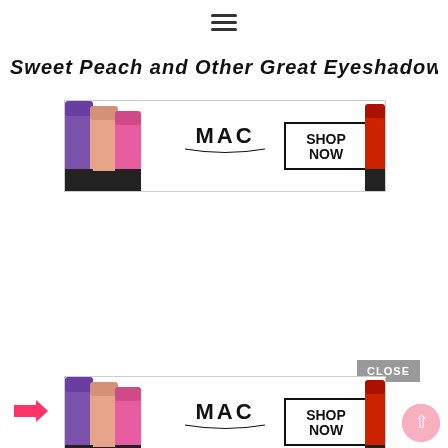≡ (hamburger menu icon)
Sweet Peach and Other Great Eyeshadow
[Figure (screenshot): MAC cosmetics advertisement banner showing purple, peach, pink lipsticks alongside a red lipstick, with MAC logo and SHOP NOW button in a black bordered box]
[Figure (screenshot): CLOSE button with grey background above a second MAC cosmetics advertisement banner identical to the top one, with scroll-to-top button and right arrow visible]
[Figure (other): Pink circle scroll-to-top button with upward arrow]
[Figure (other): Pink right-pointing arrow at bottom left]